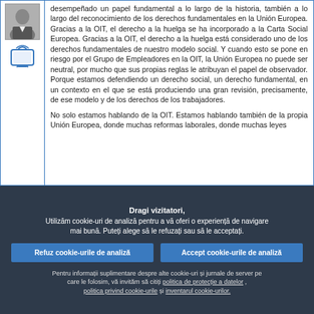[Figure (photo): Small portrait photo of a man in a suit]
[Figure (illustration): TV/screen icon with signal waves, blue outline style]
desempeñado un papel fundamental a lo largo de la historia, también a lo largo del reconocimiento de los derechos fundamentales en la Unión Europea. Gracias a la OIT, el derecho a la huelga se ha incorporado a la Carta Social Europea. Gracias a la OIT, el derecho a la huelga está considerado uno de los derechos fundamentales de nuestro modelo social. Y cuando esto se pone en riesgo por el Grupo de Empleadores en la OIT, la Unión Europea no puede ser neutral, por mucho que sus propias reglas le atribuyan el papel de observador. Porque estamos defendiendo un derecho social, un derecho fundamental, en un contexto en el que se está produciendo una gran revisión, precisamente, de ese modelo y de los derechos de los trabajadores.
No solo estamos hablando de la OIT. Estamos hablando también de la propia Unión Europea, donde muchas reformas laborales, donde muchas leyes
Dragi vizitatori,
Utilizăm cookie-uri de analiză pentru a vă oferi o experiență de navigare mai bună. Puteți alege să le refuzați sau să le acceptați.
Refuz cookie-urile de analiză
Accept cookie-urile de analiză
Pentru informații suplimentare despre alte cookie-uri și jurnale de server pe care le folosim, vă invităm să citiți politica de protecție a datelor , politica privind cookie-urile și inventarul cookie-urilor.